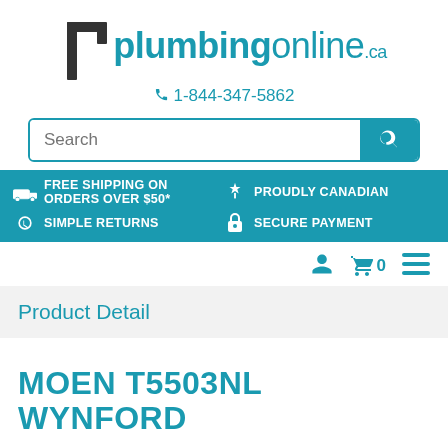[Figure (logo): plumbingonline.ca logo with plumbing pipe icon and teal text]
☎ 1-844-347-5862
Search (search bar with teal search button)
FREE SHIPPING ON ORDERS OVER $50*
PROUDLY CANADIAN
SIMPLE RETURNS
SECURE PAYMENT
Cart 0 / Menu icons
Product Detail
MOEN T5503NL WYNFORD